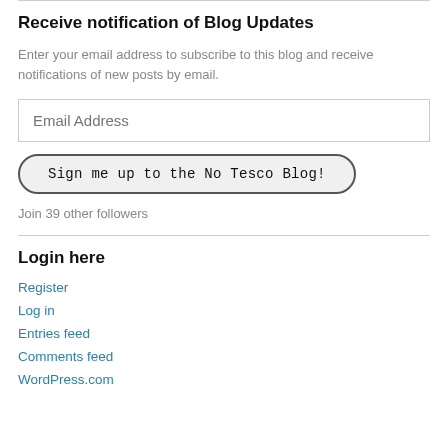Receive notification of Blog Updates
Enter your email address to subscribe to this blog and receive notifications of new posts by email.
Email Address
Sign me up to the No Tesco Blog!
Join 39 other followers
Login here
Register
Log in
Entries feed
Comments feed
WordPress.com